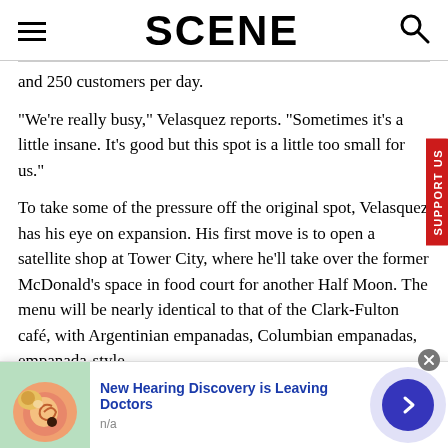SCENE
and 250 customers per day.
“We’re really busy,” Velasquez reports. “Sometimes it’s a little insane. It’s good but this spot is a little too small for us.”
To take some of the pressure off the original spot, Velasquez has his eye on expansion. His first move is to open a satellite shop at Tower City, where he’ll take over the former McDonald’s space in food court for another Half Moon. The menu will be nearly identical to that of the Clark-Fulton café, with Argentinian empanadas, Columbian empanadas, empanada-style
[Figure (other): Advertisement banner: ear anatomy illustration with text 'New Hearing Discovery is Leaving Doctors', subtext 'n/a', with a blue arrow button]